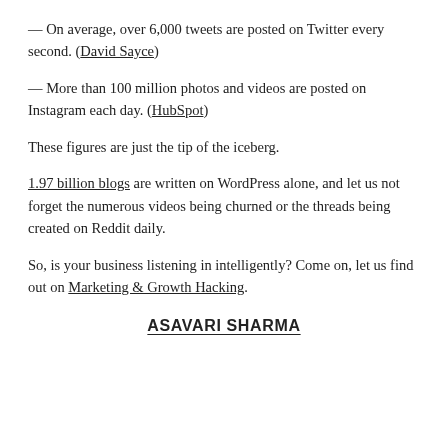— On average, over 6,000 tweets are posted on Twitter every second. (David Sayce)
— More than 100 million photos and videos are posted on Instagram each day. (HubSpot)
These figures are just the tip of the iceberg.
1.97 billion blogs are written on WordPress alone, and let us not forget the numerous videos being churned or the threads being created on Reddit daily.
So, is your business listening in intelligently? Come on, let us find out on Marketing & Growth Hacking.
ASAVARI SHARMA